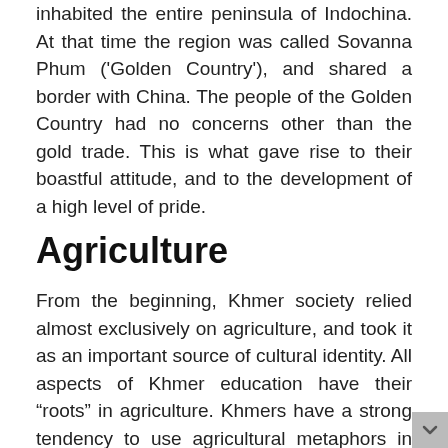inhabited the entire peninsula of Indochina. At that time the region was called Sovanna Phum ('Golden Country'), and shared a border with China. The people of the Golden Country had no concerns other than the gold trade. This is what gave rise to their boastful attitude, and to the development of a high level of pride.
Agriculture
From the beginning, Khmer society relied almost exclusively on agriculture, and took it as an important source of cultural identity. All aspects of Khmer education have their “roots” in agriculture. Khmers have a strong tendency to use agricultural metaphors in explanations.